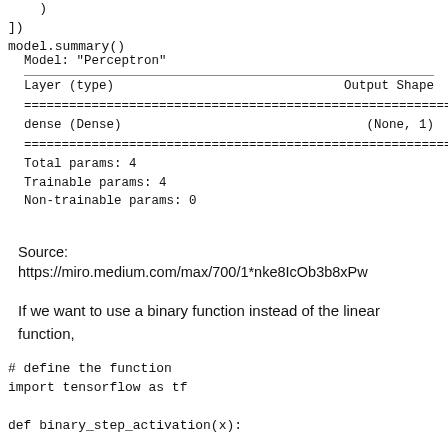)
])
model.summary()
Model: "Perceptron"

Layer (type)                Output Shape
================================================================
dense (Dense)               (None, 1)
================================================================
Total params: 4
Trainable params: 4
Non-trainable params: 0
Source:
https://miro.medium.com/max/700/1*nke8IcOb3b8xPw
If we want to use a binary function instead of the linear function,
# define the function
import tensorflow as tf

def binary_step_activation(x):

    ##return 1 if x>=0, else 0